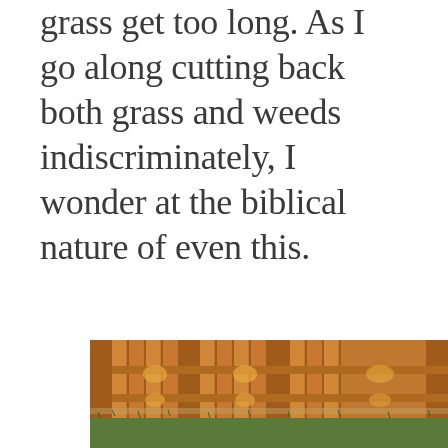grass get too long. As I go along cutting back both grass and weeds indiscriminately, I wonder at the biblical nature of even this.
[Figure (photo): A wooden privacy fence made of vertical cedar boards with horizontal rails, with green grass visible at the base. The fence panels have a warm orange-brown tone with sunlight hitting portions of the boards.]